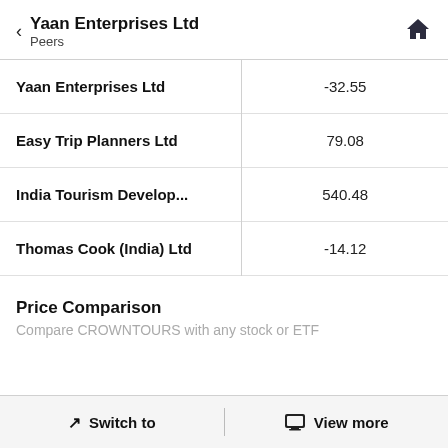Yaan Enterprises Ltd
Peers
| Company | Value |
| --- | --- |
| Yaan Enterprises Ltd | -32.55 |
| Easy Trip Planners Ltd | 79.08 |
| India Tourism Develop... | 540.48 |
| Thomas Cook (India) Ltd | -14.12 |
Price Comparison
Compare CROWNTOURS with any stock or ETF
Switch to   View more